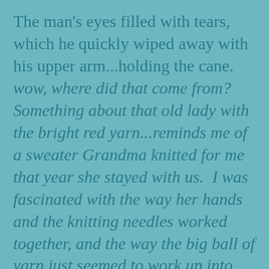The man's eyes filled with tears, which he quickly wiped away with his upper arm...holding the cane.  wow, where did that come from?  Something about that old lady with the bright red yarn...reminds me of a sweater Grandma knitted for me that year she stayed with us.  I was fascinated with the way her hands and the knitting needles worked together, and the way the big ball of yarn just seemed to work up into the smooth knitted fabric... like magic.  Grandma was the person I loved most in the world...  I was just six at